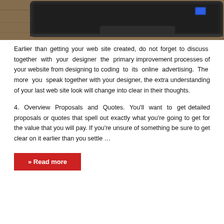[Figure (photo): A laptop computer viewed from above/behind, placed on a wooden surface. The laptop is dark/black in color with a small blue indicator light visible.]
Earlier than getting your web site created, do not forget to discuss together with your designer the primary improvement processes of your website from designing to coding to its online advertising. The more you speak together with your designer, the extra understanding of your last web site look will change into clear in their thoughts.
4. Overview Proposals and Quotes. You'll want to get detailed proposals or quotes that spell out exactly what you're going to get for the value that you will pay. If you're unsure of something be sure to get clear on it earlier than you settle …
» Read more